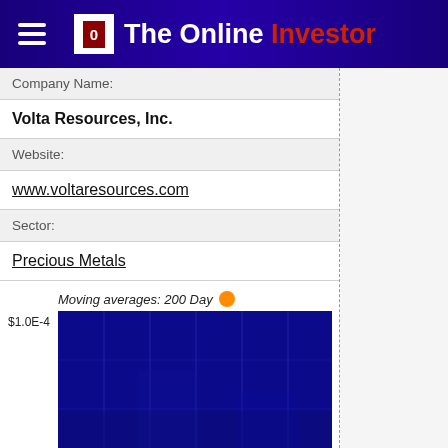The Online Investor
Company Name:
Volta Resources, Inc.
Website:
www.voltaresources.com
Sector:
Precious Metals
[Figure (line-chart): Moving averages 200 Day chart showing stock price trend for Volta Resources Inc. The chart background is dark blue showing price movement over time.]